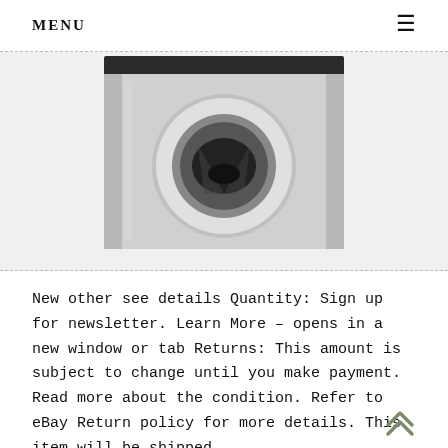MENU ≡
[Figure (photo): Close-up photo of a metallic block component with a circular recessed hole in the center, showing a dark conical interior — appears to be an industrial or mechanical part such as a nozzle block or fitting.]
New other see details Quantity: Sign up for newsletter. Learn More – opens in a new window or tab Returns: This amount is subject to change until you make payment. Read more about the condition. Refer to eBay Return policy for more details. This item will be shipped